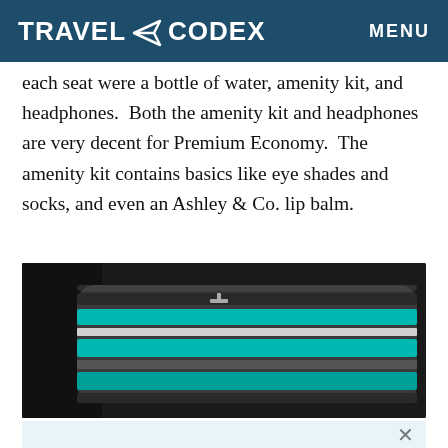TRAVEL CODEX  MENU
each seat were a bottle of water, amenity kit, and headphones.  Both the amenity kit and headphones are very decent for Premium Economy.  The amenity kit contains basics like eye shades and socks, and even an Ashley & Co. lip balm.
[Figure (photo): A striped pillow/blanket with teal, white, and dark gray horizontal stripes, placed against a dark background inside an aircraft cabin.]